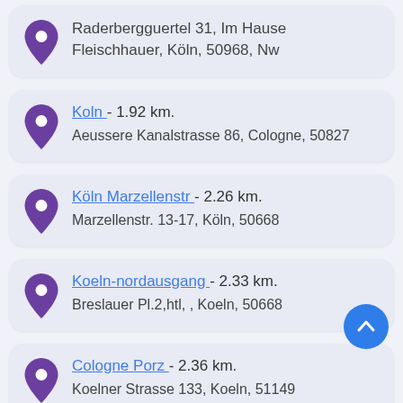Raderbergguertel 31, Im Hause Fleischhauer, Köln, 50968, Nw
Koln - 1.92 km. Aeussere Kanalstrasse 86, Cologne, 50827
Köln Marzellenstr - 2.26 km. Marzellenstr. 13-17, Köln, 50668
Koeln-nordausgang - 2.33 km. Breslauer Pl.2,htl, , Koeln, 50668
Cologne Porz - 2.36 km. Koelner Strasse 133, Koeln, 51149